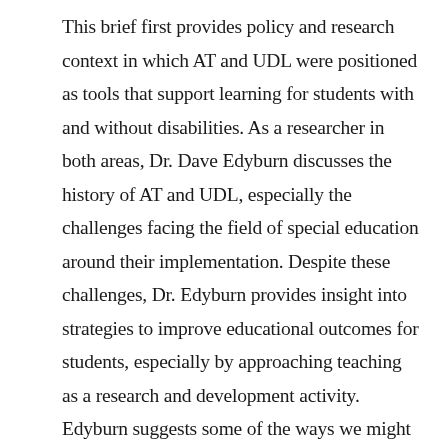This brief first provides policy and research context in which AT and UDL were positioned as tools that support learning for students with and without disabilities. As a researcher in both areas, Dr. Dave Edyburn discusses the history of AT and UDL, especially the challenges facing the field of special education around their implementation. Despite these challenges, Dr. Edyburn provides insight into strategies to improve educational outcomes for students, especially by approaching teaching as a research and development activity. Edyburn suggests some of the ways we might better prepare preservice teachers to take advantage of technologies that may not have existed when they themselves were students.